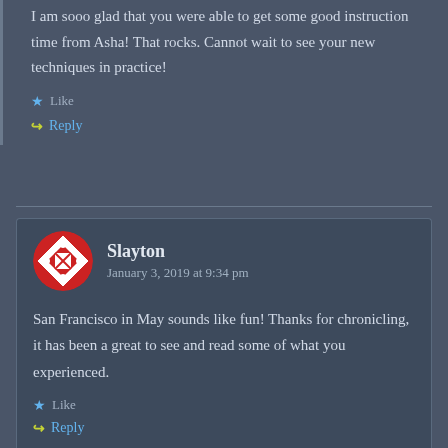I am sooo glad that you were able to get some good instruction time from Asha! That rocks. Cannot wait to see your new techniques in practice!
Like
Reply
Slayton
January 3, 2019 at 9:34 pm
San Francisco in May sounds like fun! Thanks for chronicling, it has been a great to see and read some of what you experienced.
Like